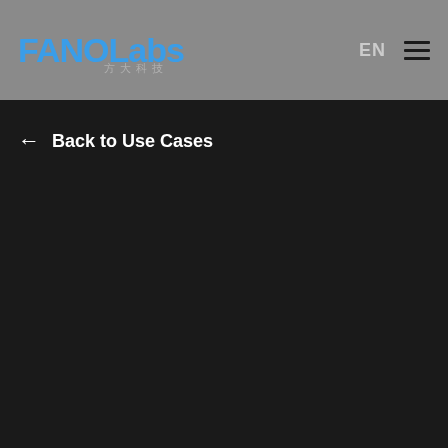FANOLabs EN ☰
← Back to Use Cases